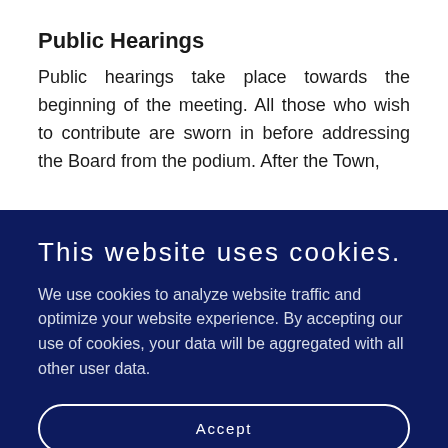Public Hearings
Public hearings take place towards the beginning of the meeting. All those who wish to contribute are sworn in before addressing the Board from the podium. After the Town,
This website uses cookies.
We use cookies to analyze website traffic and optimize your website experience. By accepting our use of cookies, your data will be aggregated with all other user data.
Accept